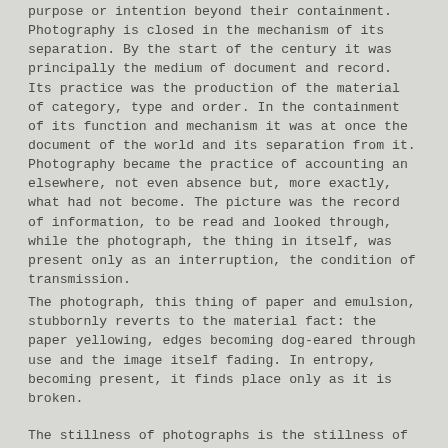purpose or intention beyond their containment. Photography is closed in the mechanism of its separation. By the start of the century it was principally the medium of document and record. Its practice was the production of the material of category, type and order. In the containment of its function and mechanism it was at once the document of the world and its separation from it. Photography became the practice of accounting an elsewhere, not even absence but, more exactly, what had not become. The picture was the record of information, to be read and looked through, while the photograph, the thing in itself, was present only as an interruption, the condition of transmission.
The photograph, this thing of paper and emulsion, stubbornly reverts to the material fact: the paper yellowing, edges becoming dog-eared through use and the image itself fading. In entropy, becoming present, it finds place only as it is broken.
The stillness of photographs is the stillness of death, where meaning is always